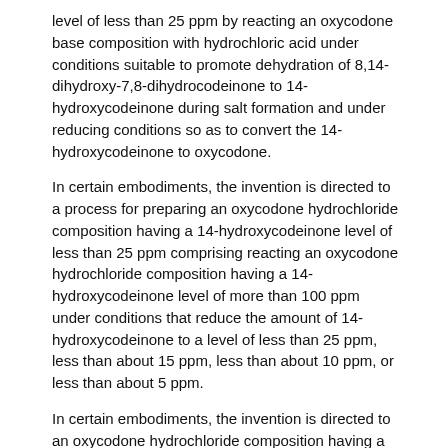level of less than 25 ppm by reacting an oxycodone base composition with hydrochloric acid under conditions suitable to promote dehydration of 8,14-dihydroxy-7,8-dihydrocodeinone to 14-hydroxycodeinone during salt formation and under reducing conditions so as to convert the 14-hydroxycodeinone to oxycodone.
In certain embodiments, the invention is directed to a process for preparing an oxycodone hydrochloride composition having a 14-hydroxycodeinone level of less than 25 ppm comprising reacting an oxycodone hydrochloride composition having a 14-hydroxycodeinone level of more than 100 ppm under conditions that reduce the amount of 14-hydroxycodeinone to a level of less than 25 ppm, less than about 15 ppm, less than about 10 ppm, or less than about 5 ppm.
In certain embodiments, the invention is directed to an oxycodone hydrochloride composition having a 14-hydroxycodeinone level of less than 25 ppm, less than about 15 ppm, less than about 10 ppm, or less than about 5 ppm.
In certain embodiments, the invention is directed to a